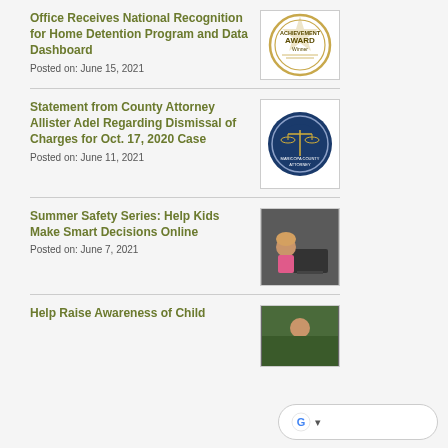Office Receives National Recognition for Home Detention Program and Data Dashboard
Posted on: June 15, 2021
[Figure (logo): Achievement Award Winner badge/seal]
Statement from County Attorney Allister Adel Regarding Dismissal of Charges for Oct. 17, 2020 Case
Posted on: June 11, 2021
[Figure (logo): Maricopa County Attorney official seal]
Summer Safety Series: Help Kids Make Smart Decisions Online
Posted on: June 7, 2021
[Figure (photo): Young girl with pink shirt sitting at computer]
Help Raise Awareness of Child
[Figure (photo): Young child outdoors]